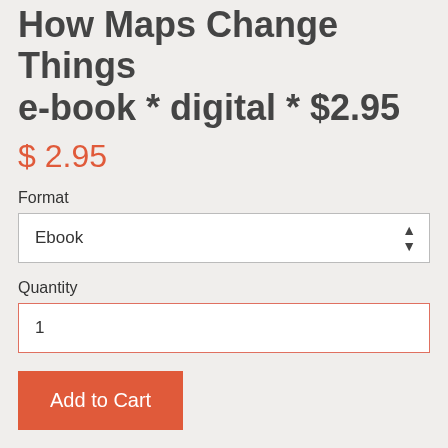How Maps Change Things e-book * digital * $2.95
$ 2.95
Format
Ebook
Quantity
1
Add to Cart
Maps do obvious things: they tell us where in the world we are, and how to get from Point A to Point B. They also invite us to exercise judgment, which brings